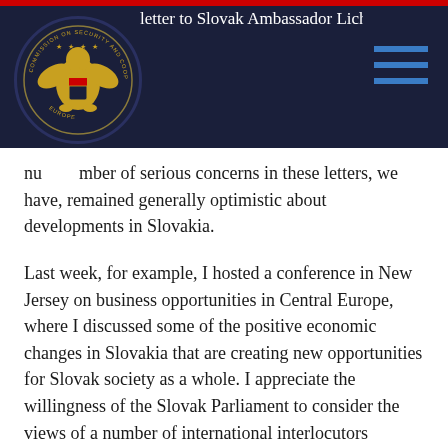letter to Slovak Ambassador Lichardus regarding
[Figure (logo): U.S. Commission on Security and Cooperation in Europe (Helsinki Commission) golden eagle seal on dark navy background with red top strip and hamburger menu icon]
number of serious concerns in these letters, we have, remained generally optimistic about developments in Slovakia.
Last week, for example, I hosted a conference in New Jersey on business opportunities in Central Europe, where I discussed some of the positive economic changes in Slovakia that are creating new opportunities for Slovak society as a whole. I appreciate the willingness of the Slovak Parliament to consider the views of a number of international interlocutors regarding draft legislation and note the active and constructive role of the President and the Constitutional Court in guiding the passage of legislation consistent with democratic values and human rights norms.